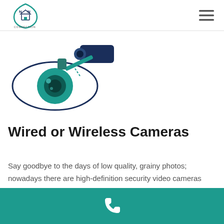[Figure (logo): NN Connection shield logo with house icon]
[Figure (illustration): Security camera eye illustration with teal and dark blue colors, a stylized eye with a surveillance camera on top]
Wired or Wireless Cameras
Say goodbye to the days of low quality, grainy photos; nowadays there are high-definition security video cameras available on the marketplace, plus they are available in both wired and wireless models. And they
Phone contact footer bar with phone icon